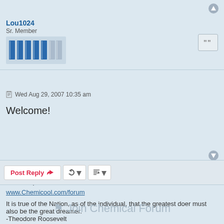[Figure (other): Up arrow button in top right corner]
Lou1024
Sr. Member
[Figure (other): Forum rank bars: 5 blue bars and 3 gray bars shown as vertical bar chart]
[Figure (other): Quote button with quotation mark icon]
Wed Aug 29, 2007 10:35 am
Welcome!
Other helpful site:
www.Chemicool.com/forum
It is true of the Nation, as of the individual, that the greatest doer must also be the great dreamer.
-Theodore Roosevelt
[Figure (other): Down arrow button bottom right]
Post Reply
⚑ Join Chemical Forum